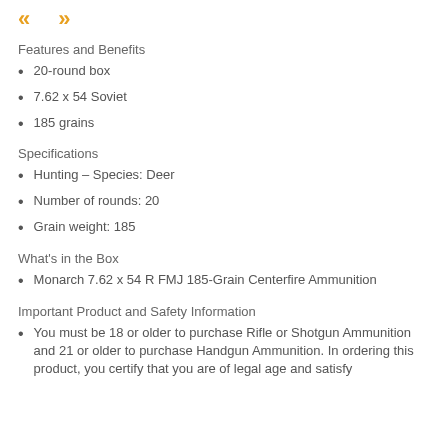Features and Benefits
20-round box
7.62 x 54 Soviet
185 grains
Specifications
Hunting – Species: Deer
Number of rounds: 20
Grain weight: 185
What's in the Box
Monarch 7.62 x 54 R FMJ 185-Grain Centerfire Ammunition
Important Product and Safety Information
You must be 18 or older to purchase Rifle or Shotgun Ammunition and 21 or older to purchase Handgun Ammunition. In ordering this product, you certify that you are of legal age and satisfy